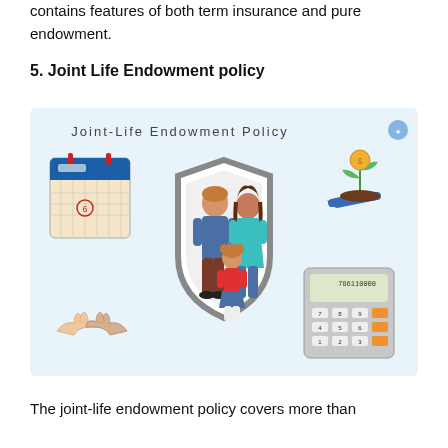contains features of both term insurance and pure endowment.
5. Joint Life Endowment policy
[Figure (illustration): Illustration of Joint-Life Endowment Policy showing a family (man, woman, child) inside a shield, surrounded by a calendar, handshake, plant with coin, and calculator icons. Title text reads 'Joint-Life Endowment Policy'.]
The joint-life endowment policy covers more than